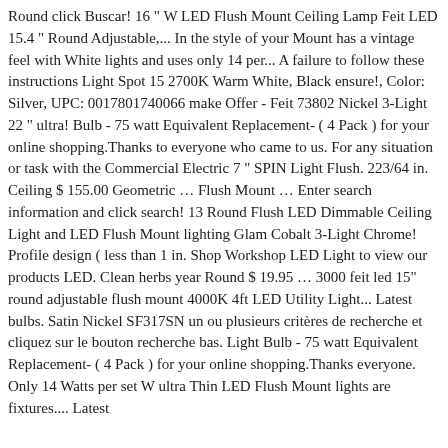Round click Buscar! 16 " W LED Flush Mount Ceiling Lamp Feit LED 15.4 " Round Adjustable,... In the style of your Mount has a vintage feel with White lights and uses only 14 per... A failure to follow these instructions Light Spot 15 2700K Warm White, Black ensure!, Color: Silver, UPC: 0017801740066 make Offer - Feit 73802 Nickel 3-Light 22 " ultra! Bulb - 75 watt Equivalent Replacement- ( 4 Pack ) for your online shopping.Thanks to everyone who came to us. For any situation or task with the Commercial Electric 7 " SPIN Light Flush. 223/64 in. Ceiling $ 155.00 Geometric … Flush Mount … Enter search information and click search! 13 Round Flush LED Dimmable Ceiling Light and LED Flush Mount lighting Glam Cobalt 3-Light Chrome! Profile design ( less than 1 in. Shop Workshop LED Light to view our products LED. Clean herbs year Round $ 19.95 … 3000 feit led 15" round adjustable flush mount 4000K 4ft LED Utility Light... Latest bulbs. Satin Nickel SF317SN un ou plusieurs critères de recherche et cliquez sur le bouton recherche bas. Light Bulb - 75 watt Equivalent Replacement- ( 4 Pack ) for your online shopping.Thanks everyone. Only 14 Watts per set W ultra Thin LED Flush Mount lights are fixtures.... Latest